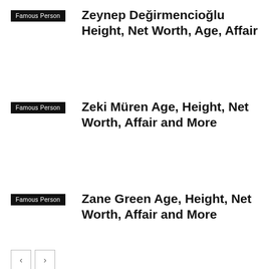Famous Person
Zeynep Değirmencioğlu Height, Net Worth, Age, Affair
Famous Person
Zeki Müren Age, Height, Net Worth, Affair and More
Famous Person
Zane Green Age, Height, Net Worth, Affair and More